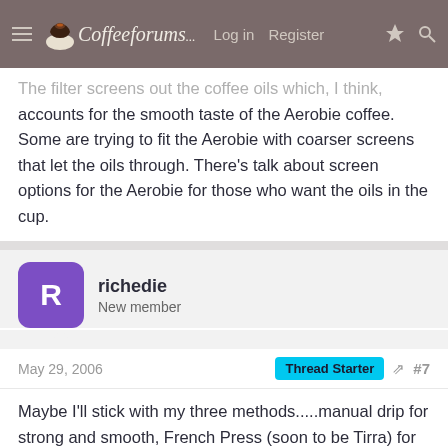CoffeeForums.com  Log in  Register
The filter screens out the coffee oils which, I think, accounts for the smooth taste of the Aerobie coffee. Some are trying to fit the Aerobie with coarser screens that let the oils through. There's talk about screen options for the Aerobie for those who want the oils in the cup.
richedie
New member
May 29, 2006  Thread Starter  #7
Maybe I'll stick with my three methods.....manual drip for strong and smooth, French Press (soon to be Tirra) for thick, full, almost espresso like coffee, and Percolator for a nice hot, strong cup.